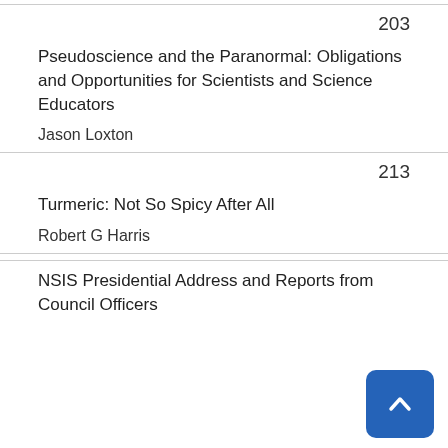203
Pseudoscience and the Paranormal: Obligations and Opportunities for Scientists and Science Educators
Jason Loxton
213
Turmeric: Not So Spicy After All
Robert G Harris
NSIS Presidential Address and Reports from Council Officers